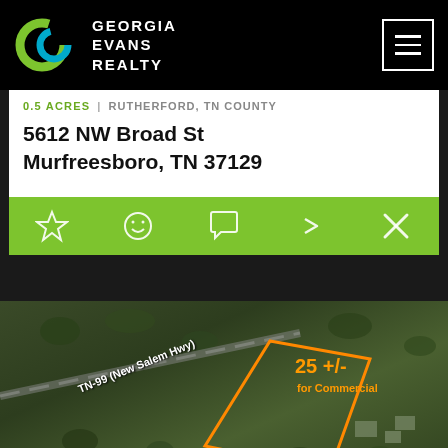GEORGIA EVANS REALTY
0.5 ACRES | RUTHERFORD, TN COUNTY
5612 NW Broad St Murfreesboro, TN 37129
[Figure (map): Aerial satellite map view showing a parcel of land along TN-99 (New Salem Hwy) with orange boundary lines marked '25 +/- for Commercial']
TN-99 (New Salem Hwy) | 25 +/- for Commercial